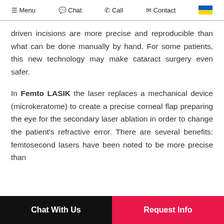≡ Menu  Chat  Call  Contact  [Ukraine flag]
driven incisions are more precise and reproducible than what can be done manually by hand. For some patients, this new technology may make cataract surgery even safer.
In Femto LASIK the laser replaces a mechanical device (microkeratome) to create a precise corneal flap preparing the eye for the secondary laser ablation in order to change the patient's refractive error. There are several benefits: femtosecond lasers have been noted to be more precise than
Chat With Us   Request Info